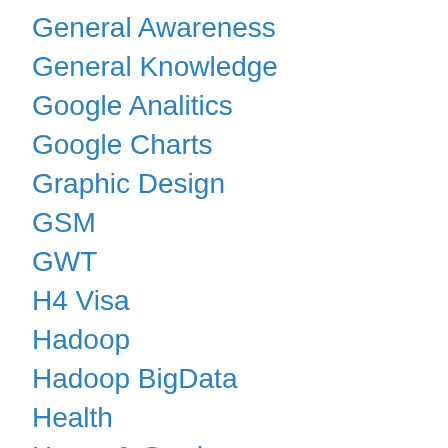General Awareness
General Knowledge
Google Analitics
Google Charts
Graphic Design
GSM
GWT
H4 Visa
Hadoop
Hadoop BigData
Health
Home & Garden
Hotel Management